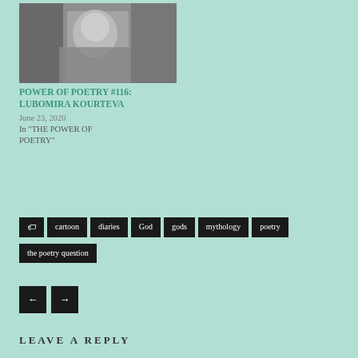[Figure (photo): Black and white photo of a woman with long hair, seated, looking at camera]
POWER OF POETRY #116: LUBOMIRA KOURTEVA
June 23, 2020
In "THE POWER OF POETRY"
cartoon
diaries
God
gods
mythology
poetry
the poetry question
LEAVE A REPLY